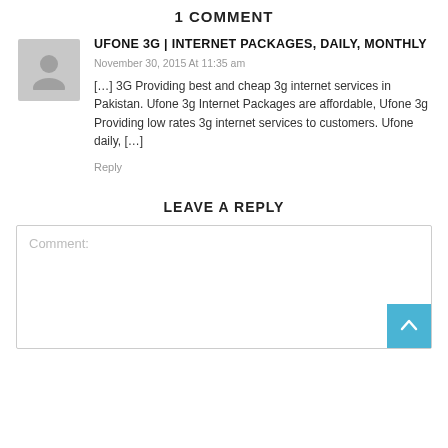1 COMMENT
UFONE 3G | INTERNET PACKAGES, DAILY, MONTHLY
November 30, 2015 At 11:35 am
[…] 3G Providing best and cheap 3g internet services in Pakistan. Ufone 3g Internet Packages are affordable, Ufone 3g Providing low rates 3g internet services to customers. Ufone daily, […]
Reply
LEAVE A REPLY
Comment: